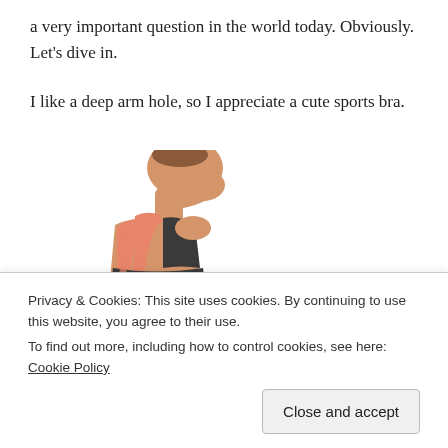a very important question in the world today. Obviously. Let's dive in.
I like a deep arm hole, so I appreciate a cute sports bra.
[Figure (photo): Side profile of a person wearing a coral/salmon colored sports bra with black details, cropped at neck and waist.]
Privacy & Cookies: This site uses cookies. By continuing to use this website, you agree to their use.
To find out more, including how to control cookies, see here: Cookie Policy
[Close and accept button]